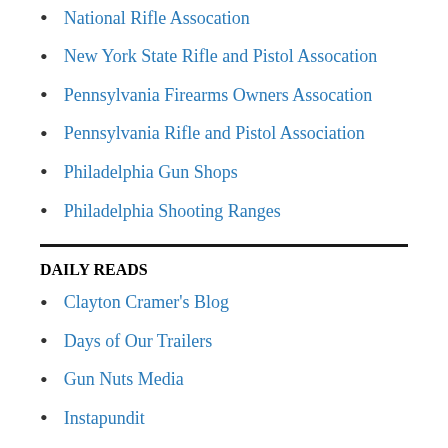National Rifle Assocation
New York State Rifle and Pistol Assocation
Pennsylvania Firearms Owners Assocation
Pennsylvania Rifle and Pistol Association
Philadelphia Gun Shops
Philadelphia Shooting Ranges
DAILY READS
Clayton Cramer's Blog
Days of Our Trailers
Gun Nuts Media
Instapundit
No Lawyers, Only Guns and Money
Of Arms and the Law